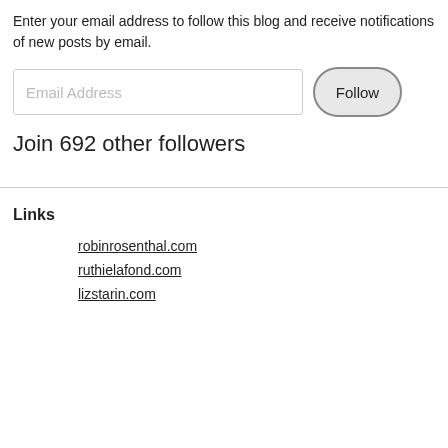Enter your email address to follow this blog and receive notifications of new posts by email.
Join 692 other followers
Links
robinrosenthal.com
ruthielafond.com
lizstarin.com